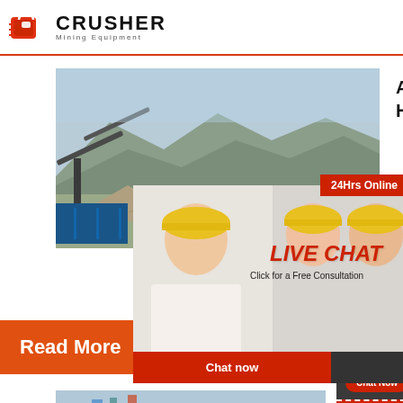[Figure (logo): Crusher Mining Equipment logo with red shopping bag icon and bold black CRUSHER text]
[Figure (photo): Mining quarry site with equipment and containers, mountainous background]
Aggregate Hauler
[Figure (screenshot): Live chat overlay showing workers in hard hats, LIVE CHAT text in red, Chat now and Chat later buttons]
24Hrs Online
LIVE CHAT
Click for a Free Consultation
Chat now
Chat later
Read More
Need questions & suggestion?
Chat Now
Enquiry
limingJimofen@sina.com
[Figure (photo): Construction site with cranes and heavy equipment]
inform
crushe